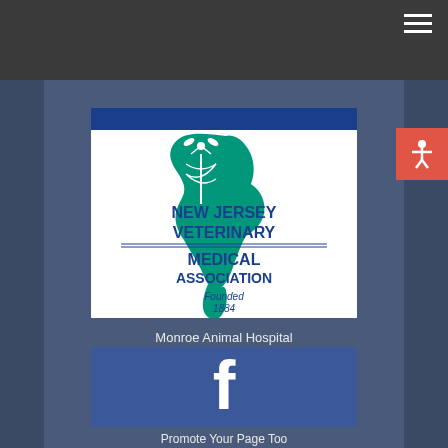[Figure (logo): New Jersey Veterinary Medical Association logo — green silhouette of New Jersey state with veterinary caduceus symbol, blue top bar, text 'NEW JERSEY VETERINARY MEDICAL ASSOCIATION Founded 1884']
Monroe Animal Hospital
[Figure (logo): Facebook logo — white 'f' on blue background]
Promote Your Page Too